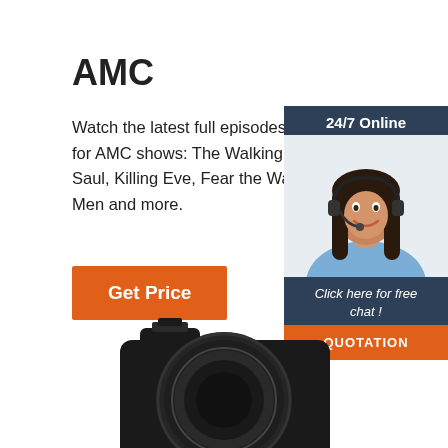AMC
Watch the latest full episodes and video ex... for AMC shows: The Walking Dead, Better... Saul, Killing Eve, Fear the Walking Dead, Men and more.
[Figure (infographic): Orange 'Get Price' button]
[Figure (photo): 24/7 Online chat widget with a smiling woman wearing a headset, dark blue background, orange QUOTATION button, text: Click here for free chat!]
[Figure (photo): Bottom portion of a black DSLR camera lens, partially cropped at the bottom of the page.]